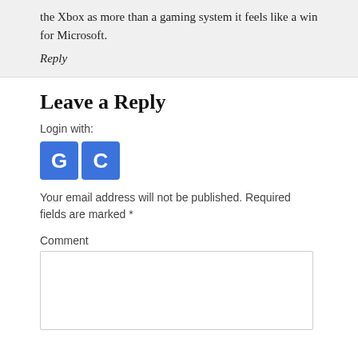the Xbox as more than a gaming system it feels like a win for Microsoft.
Reply
Leave a Reply
Login with:
[Figure (other): Two blue square login buttons with white letters G and C]
Your email address will not be published. Required fields are marked *
Comment
[Figure (other): Empty comment text area input box]